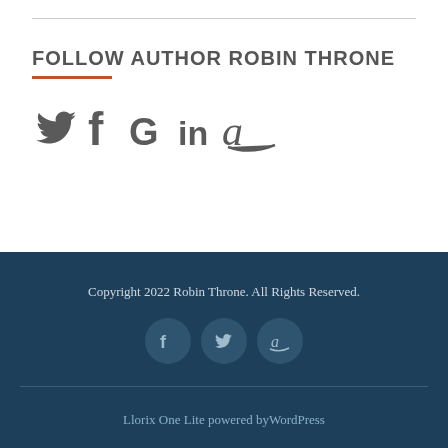FOLLOW AUTHOR ROBIN THRONE
[Figure (illustration): Social media icons row: Twitter bird, Facebook f, Google G, LinkedIn in, Amazon a]
Copyright 2022 Robin Throne. All Rights Reserved.
[Figure (illustration): Footer social icons: Facebook, Twitter, Amazon circles]
Llorix One Lite powered byWordPress